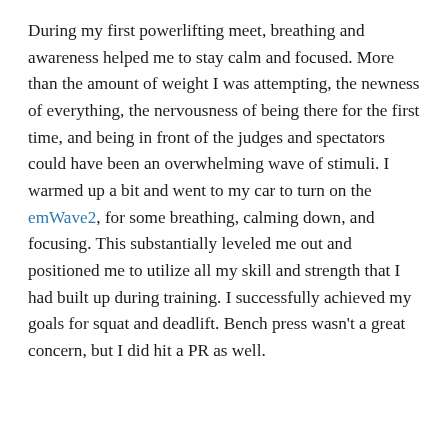During my first powerlifting meet, breathing and awareness helped me to stay calm and focused. More than the amount of weight I was attempting, the newness of everything, the nervousness of being there for the first time, and being in front of the judges and spectators could have been an overwhelming wave of stimuli. I warmed up a bit and went to my car to turn on the emWave2, for some breathing, calming down, and focusing. This substantially leveled me out and positioned me to utilize all my skill and strength that I had built up during training. I successfully achieved my goals for squat and deadlift. Bench press wasn't a great concern, but I did hit a PR as well.